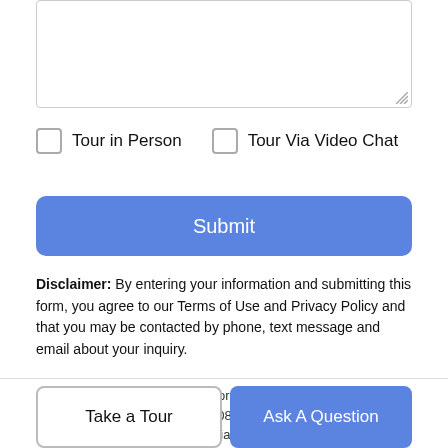[Figure (screenshot): Text area input box with resize handle in bottom-right corner]
Tour in Person   Tour Via Video Chat
Submit
Disclaimer: By entering your information and submitting this form, you agree to our Terms of Use and Privacy Policy and that you may be contacted by phone, text message and email about your inquiry.
Based on information from California Regional Multiple Listing Service, Inc. as of 2022-08-26T08:47:02.037. This information is for your personal, non-commercial use and may not be used for
Take a Tour
Ask A Question